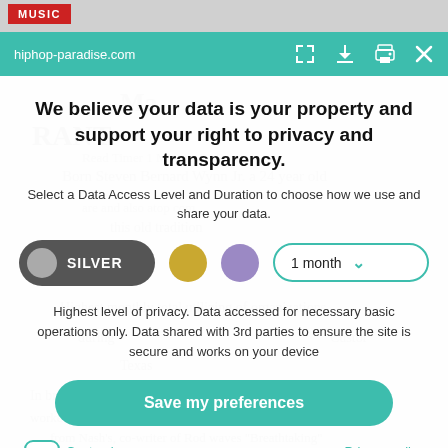MUSIC
hiphop-paradise.com
We believe your data is your property and support your right to privacy and transparency.
Select a Data Access Level and Duration to choose how we use and share your data.
[Figure (infographic): Privacy level selector with Silver toggle button (selected), gold circle option, purple circle option, and a 1 month duration dropdown]
Highest level of privacy. Data accessed for necessary basic operations only. Data shared with 3rd parties to ensure the site is secure and works on your device
Save my preferences
Customize
Privacy policy